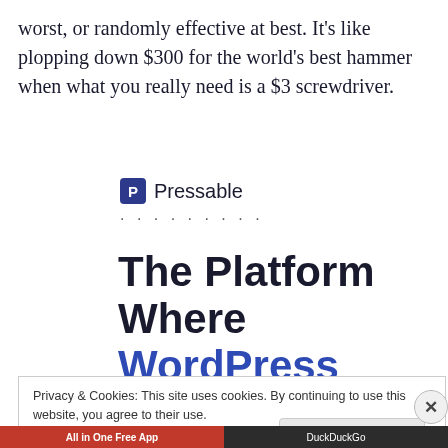worst, or randomly effective at best. It's like plopping down $300 for the world's best hammer when what you really need is a $3 screwdriver.
[Figure (logo): Pressable logo — blue square icon with letter P and the text 'Pressable' beside it, followed by a dotted line separator]
The Platform Where WordPress Works Best
Privacy & Cookies: This site uses cookies. By continuing to use this website, you agree to their use.
To find out more, including how to control cookies, see here: Cookie Policy
Close and accept